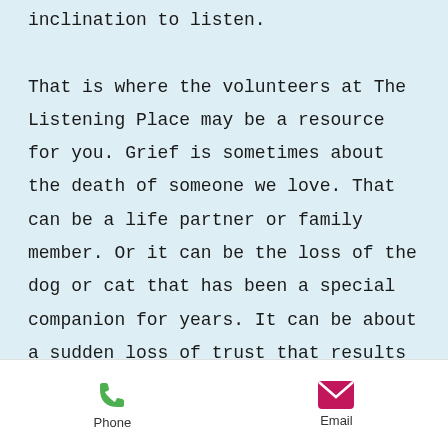inclination to listen.

That is where the volunteers at The Listening Place may be a resource for you. Grief is sometimes about the death of someone we love. That can be a life partner or family member. Or it can be the loss of the dog or cat that has been a special companion for years. It can be about a sudden loss of trust that results in a separation or divorce. It can be about estrangement
Phone  Email